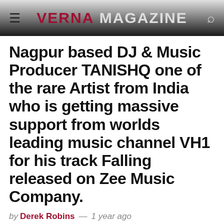VERNA MAGAZINE
Nagpur based DJ & Music Producer TANISHQ one of the rare Artist from India who is getting massive support from worlds leading music channel VH1 for his track Falling released on Zee Music Company.
by Derek Robins — 1 year ago
[Figure (photo): Dark background photo with teal/cyan light glows, appears to be a concert or studio scene]